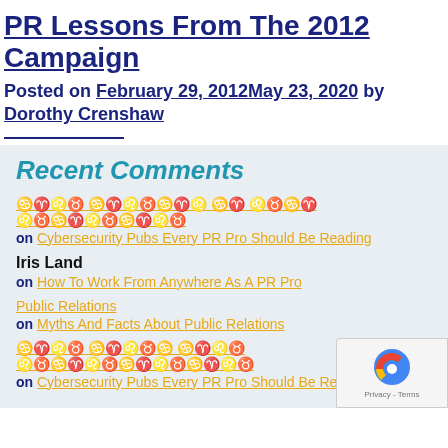PR Lessons From The 2012 Campaign
Posted on February 29, 2012May 23, 2020 by Dorothy Crenshaw
Recent Comments
[non-latin text] on Cybersecurity Pubs Every PR Pro Should Be Reading
Iris Land on How To Work From Anywhere As A PR Pro
Public Relations on Myths And Facts About Public Relations
[non-latin text] on Cybersecurity Pubs Every PR Pro Should Be Reading